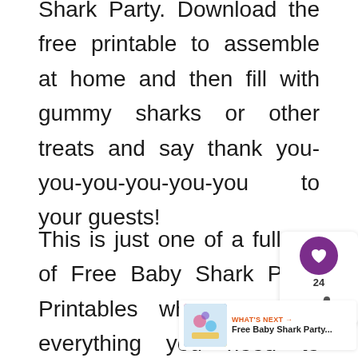Shark Party. Download the free printable to assemble at home and then fill with gummy sharks or other treats and say thank you-you-you-you-you-you to your guests!
This is just one of a full set of Free Baby Shark Party Printables which includes everything you need to throw an awesome party!